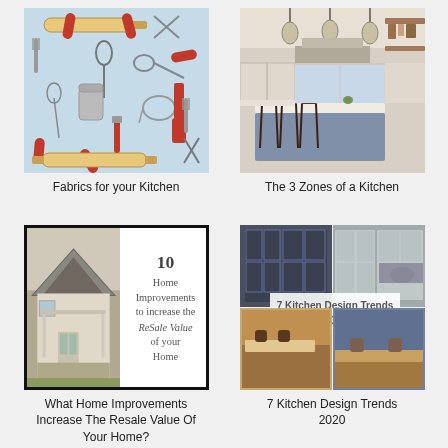[Figure (photo): A flat-lay illustration of kitchen utensils including rolling pins, scissors, forks, spoons, ladles, colanders, canisters, spatulas, and whisks on a light blue background with red accent pieces.]
Fabrics for your Kitchen
[Figure (photo): A modern farmhouse-style kitchen interior with pendant lights, a large kitchen island with white countertop, bar stools, open shelving, and a window in the background.]
The 3 Zones of a Kitchen
[Figure (photo): A collage showing a cottage-style house entrance with timber porch on the left, and on the right a white overlay text reading '10 Home Improvements to increase the ReSale Value of your Home'.]
What Home Improvements Increase The Resale Value Of Your Home?
[Figure (photo): A four-image collage of kitchen design photos featuring dark cabinets, grey cabinets, wood-accented kitchens and blue/wood kitchens. Central white overlay reads '7 Kitchen Design Trends 2020'.]
7 Kitchen Design Trends 2020